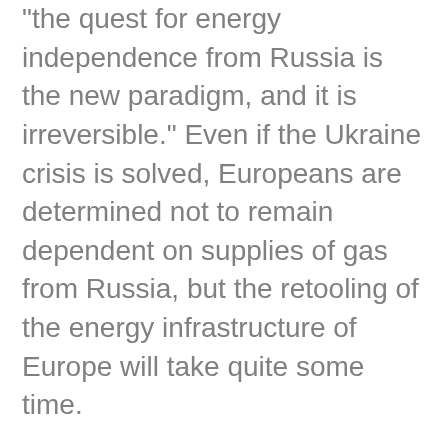"the quest for energy independence from Russia is the new paradigm, and it is irreversible." Even if the Ukraine crisis is solved, Europeans are determined not to remain dependent on supplies of gas from Russia, but the retooling of the energy infrastructure of Europe will take quite some time.
On the subject of Greece and the new crisis in the Eurozone, Wittig said Germany wants to keep Greece in the Eurozone, but "we expect them to stick to the agreements made by previous [Greek] governments." He said the negotiations with Greece were difficult, but had to be worked through. In response to a question Wittig said that the issue of German war reparations to Greece, which had been brought up recently by some Greek politicians, while understandable from a historical point of view, was not really relevant to the current discussions over restructuring the Greek debt. "We need